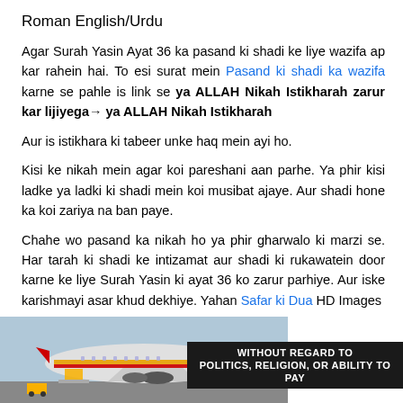Roman English/Urdu
Agar Surah Yasin Ayat 36 ka pasand ki shadi ke liye wazifa ap kar rahein hai. To esi surat mein Pasand ki shadi ka wazifa karne se pahle is link se ya ALLAH Nikah Istikharah zarur kar lijiyega→ ya ALLAH Nikah Istikharah
Aur is istikhara ki tabeer unke haq mein ayi ho.
Kisi ke nikah mein agar koi pareshani aan parhe. Ya phir kisi ladke ya ladki ki shadi mein koi musibat ajaye. Aur shadi hone ka koi zariya na ban paye.
Chahe wo pasand ka nikah ho ya phir gharwalo ki marzi se. Har tarah ki shadi ke intizamat aur shadi ki rukawatein door karne ke liye Surah Yasin ki ayat 36 ko zarur parhiye. Aur iske karishmayi asar khud dekhiye. Yahan Safar ki Dua HD Images
[Figure (photo): Advertisement banner showing an airplane being loaded with cargo, with overlay text 'WITHOUT REGARD TO POLITICS, RELIGION, OR ABILITY TO PAY']